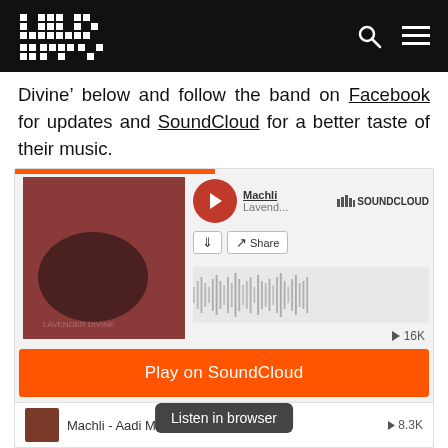Wild City
Divine' below and follow the band on Facebook for updates and SoundCloud for a better taste of their music.
[Figure (screenshot): SoundCloud embedded player showing Machli - Lavender... with album art, play button, waveform, play count 16K, orange Play on SoundCloud button, Listen in browser tooltip, and track list: Machli - Aadi Manav (8.3K), Machli - Hi-Res (4.3K), Machli - Hexagon (3.8K), Machli - (partially visible)]